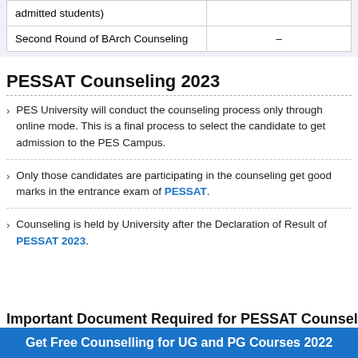|  |  |
| --- | --- |
| admitted students) |  |
| Second Round of BArch Counseling | – |
PESSAT Counseling 2023
PES University will conduct the counseling process only through online mode. This is a final process to select the candidate to get admission to the PES Campus.
Only those candidates are participating in the counseling get good marks in the entrance exam of PESSAT.
Counseling is held by University after the Declaration of Result of PESSAT 2023.
Important Document Required for PESSAT Counseling
Get Free Counselling for UG and PG Courses 2022